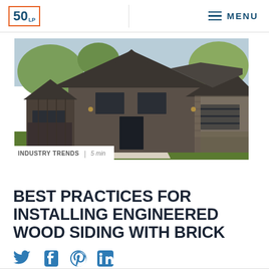50 LP | MENU
[Figure (photo): Exterior photo of a modern farmhouse-style home with dark engineered wood siding, board-and-batten accents, dark metal roof, green lawn, and trees in background.]
INDUSTRY TRENDS | 5 min
BEST PRACTICES FOR INSTALLING ENGINEERED WOOD SIDING WITH BRICK
Social share icons: Twitter, Facebook, Pinterest, LinkedIn